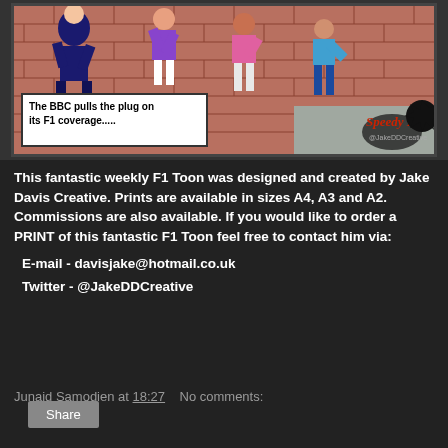[Figure (illustration): A comic strip cartoon panel showing cartoon characters near a brick wall. A speech bubble reads 'The BBC pulls the plug on its F1 coverage.....' and the 'Speedy Hedz' logo appears in the bottom right with '@JakeDDCreative' handle.]
This fantastic weekly F1 Toon was designed and created by Jake Davis Creative. Prints are available in sizes A4, A3 and A2. Commissions are also available. If you would like to order a PRINT of this fantastic F1 Toon feel free to contact him via:
E-mail - davisjake@hotmail.co.uk
Twitter - @JakeDDCreative
Junaid Samodien at 18:27    No comments:
Share